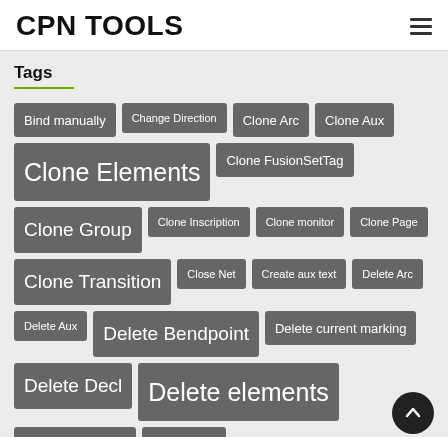CPN TOOLS
Tags
Bind manually
Change Direction
Clone Arc
Clone Aux
Clone Elements
Clone FusionSetTag
Clone Group
Clone Inscription
Clone monitor
Clone Page
Clone Transition
Close Net
Create aux text
Delete Arc
Delete Aux
Delete Bendpoint
Delete current marking
Delete Decl
Delete elements
Delete FusionSetTag
Delete Gro…